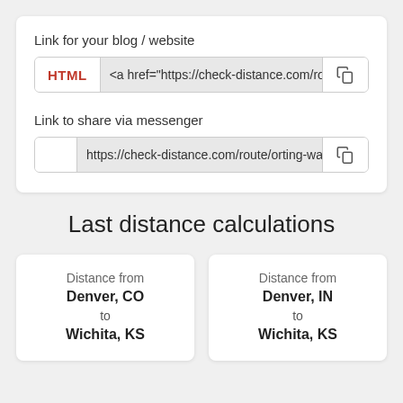Link for your blog / website
HTML | <a href="https://check-distance.com/ro...
Link to share via messenger
https://check-distance.com/route/orting-wa/st
Last distance calculations
Distance from
Denver, CO
to
Wichita, KS
Distance from
Denver, IN
to
Wichita, KS